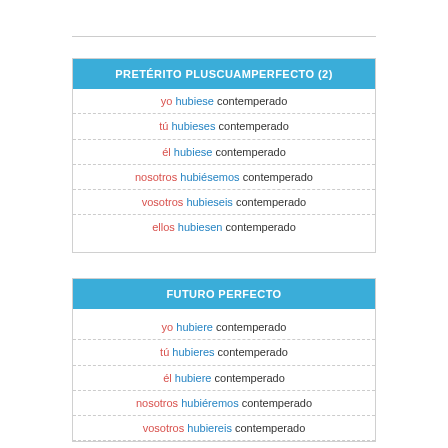| PRETÉRITO PLUSCUAMPERFECTO (2) |
| --- |
| yo hubiese contemperado |
| tú hubieses contemperado |
| él hubiese contemperado |
| nosotros hubiésemos contemperado |
| vosotros hubieseis contemperado |
| ellos hubiesen contemperado |
| FUTURO PERFECTO |
| --- |
| yo hubiere contemperado |
| tú hubieres contemperado |
| él hubiere contemperado |
| nosotros hubiéremos contemperado |
| vosotros hubiereis contemperado |